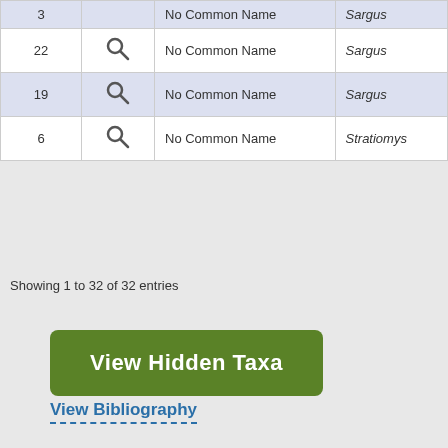| # |  | Common Name | Genus |
| --- | --- | --- | --- |
| 3 |  | No Common Name | Sargus |
| 22 | 🔍 | No Common Name | Sargus |
| 19 | 🔍 | No Common Name | Sargus |
| 6 | 🔍 | No Common Name | Stratiomys |
Showing 1 to 32 of 32 entries
View Hidden Taxa
View Bibliography